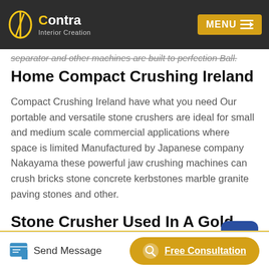Contra Interior Creation — MENU
separator and other machines are built to perfection Ball.
Home Compact Crushing Ireland
Compact Crushing Ireland have what you need Our portable and versatile stone crushers are ideal for small and medium scale commercial applications where space is limited Manufactured by Japanese company Nakayama these powerful jaw crushing machines can crush bricks stone concrete kerbstones marble granite paving stones and other.
Stone Crusher Used In A Gold Mine South Africa Vsi Crusher
Send Message   Free Consultation